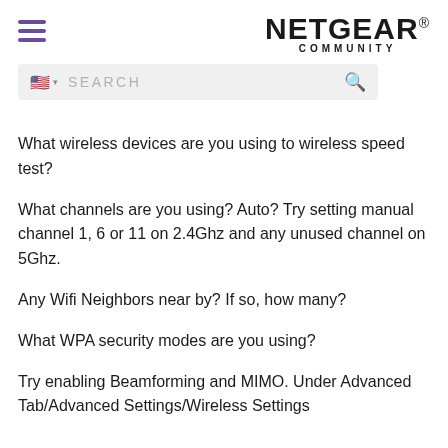NETGEAR COMMUNITY
What wireless devices are you using to wireless speed test?
What channels are you using? Auto? Try setting manual channel 1, 6 or 11 on 2.4Ghz and any unused channel on 5Ghz.
Any Wifi Neighbors near by? If so, how many?
What WPA security modes are you using?
Try enabling Beamforming and MIMO. Under Advanced Tab/Advanced Settings/Wireless Settings
Try disabling the following and see:
Daisy Chain, Fast Roaming, IPv6 and Set 20/40Mhz